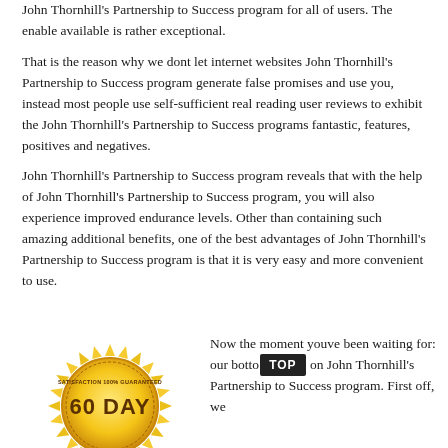John Thornhill's Partnership to Success program for all of users. The enable available is rather exceptional.
That is the reason why we dont let internet websites John Thornhill's Partnership to Success program generate false promises and use you, instead most people use self-sufficient real reading user reviews to exhibit the John Thornhill's Partnership to Success programs fantastic, features, positives and negatives.
John Thornhill's Partnership to Success program reveals that with the help of John Thornhill's Partnership to Success program, you will also experience improved endurance levels. Other than containing such amazing additional benefits, one of the best advantages of John Thornhill's Partnership to Success program is that it is very easy and more convenient to use.
[Figure (illustration): Gold circular badge/seal with sunburst rays that reads 'SATISFACTION 100% GUARANTEED' and '60 DAY' in large text]
Now the moment youve been waiting for: our botto on John Thornhill's Partnership to Success program. First off, we